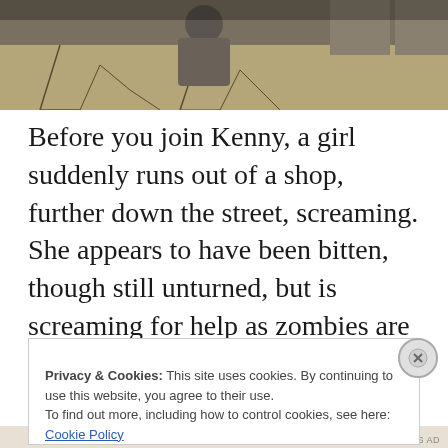[Figure (screenshot): Top portion of a game screenshot showing a character from behind near cracked stone floor and pillars, dark moody atmosphere]
Before you join Kenny, a girl suddenly runs out of a shop, further down the street, screaming. She appears to have been bitten, though still unturned, but is screaming for help as zombies are attracted from all around. You aim your rifle to shoot her and put her out of her misery, but
Privacy & Cookies: This site uses cookies. By continuing to use this website, you agree to their use.
To find out more, including how to control cookies, see here: Cookie Policy
Close and accept